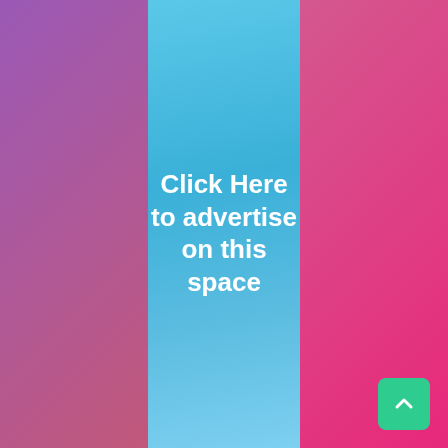[Figure (illustration): Advertisement banner with purple-pink gradient on left and right panels, light blue gradient center panel, white bold text reading 'Click Here to advertise on this space', and a green scroll-to-top button in the bottom right corner.]
Click Here to advertise on this space